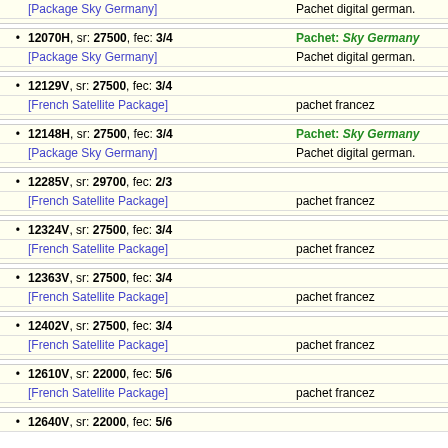[Package Sky Germany] | Pachet digital german.
12070H, sr: 27500, fec: 3/4 | Pachet: Sky Germany
[Package Sky Germany] | Pachet digital german.
12129V, sr: 27500, fec: 3/4
[French Satellite Package] | pachet francez
12148H, sr: 27500, fec: 3/4 | Pachet: Sky Germany
[Package Sky Germany] | Pachet digital german.
12285V, sr: 29700, fec: 2/3
[French Satellite Package] | pachet francez
12324V, sr: 27500, fec: 3/4
[French Satellite Package] | pachet francez
12363V, sr: 27500, fec: 3/4
[French Satellite Package] | pachet francez
12402V, sr: 27500, fec: 3/4
[French Satellite Package] | pachet francez
12610V, sr: 22000, fec: 5/6
[French Satellite Package] | pachet francez
12640V, sr: 22000, fec: 5/6